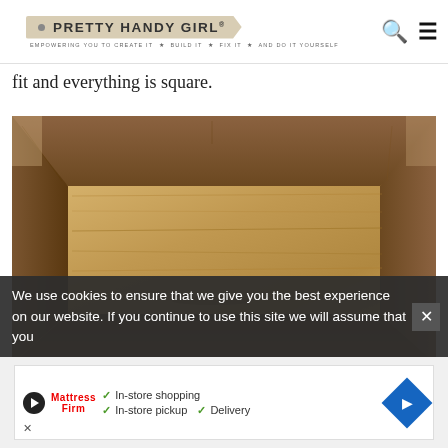PRETTY HANDY GIRL® — EMPOWERING YOU TO CREATE IT ★ BUILD IT ★ FIX IT ★ AND DO IT YOURSELF
fit and everything is square.
[Figure (photo): A rustic wooden frame assembled on a workbench, viewed from above. The frame is made from dark weathered wood boards joined at mitered corners, surrounding a lighter wood panel in the center.]
We use cookies to ensure that we give you the best experience on our website. If you continue to use this site we will assume that you
[Figure (other): Mattress Firm advertisement banner showing in-store shopping, in-store pickup, and delivery options with a blue navigation arrow icon.]